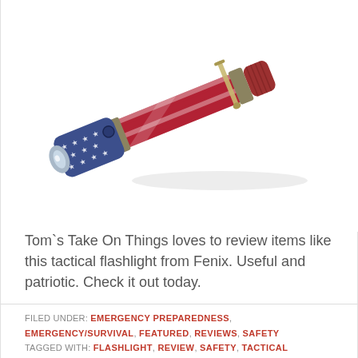[Figure (photo): A tactical flashlight decorated with an American flag design — stars on blue background near the head, red and white stripes on the body — with a pocket clip, photographed at a diagonal angle on a white background.]
Tom`s Take On Things loves to review items like this tactical flashlight from Fenix. Useful and patriotic. Check it out today.
FILED UNDER: EMERGENCY PREPAREDNESS, EMERGENCY/SURVIVAL, FEATURED, REVIEWS, SAFETY TAGGED WITH: FLASHLIGHT, REVIEW, SAFETY, TACTICAL